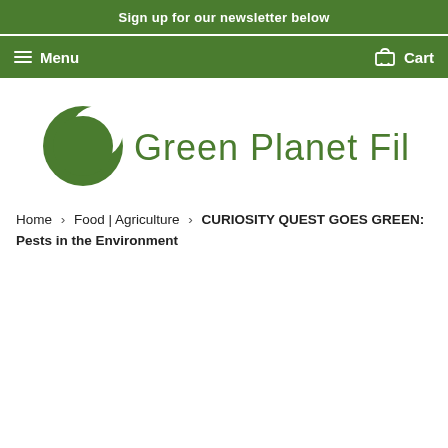Sign up for our newsletter below
Menu   Cart
[Figure (logo): Green Planet Films logo with circular leaf icon]
Home › Food | Agriculture › CURIOSITY QUEST GOES GREEN: Pests in the Environment